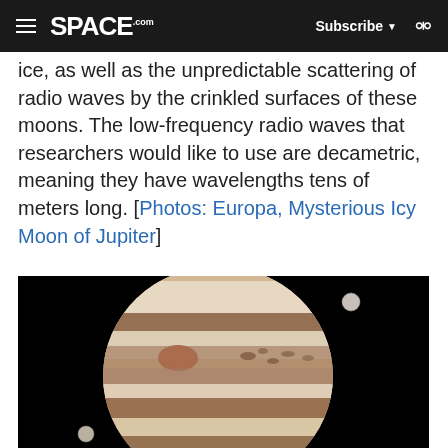SPACE.com — Subscribe — Search
ice, as well as the unpredictable scattering of radio waves by the crinkled surfaces of these moons. The low-frequency radio waves that researchers would like to use are decametric, meaning they have wavelengths tens of meters long. [Photos: Europa, Mysterious Icy Moon of Jupiter]
[Figure (photo): Telescope image of Jupiter showing its distinctive cloud bands and the Great Red Spot, with two small moons visible against the black background of space.]